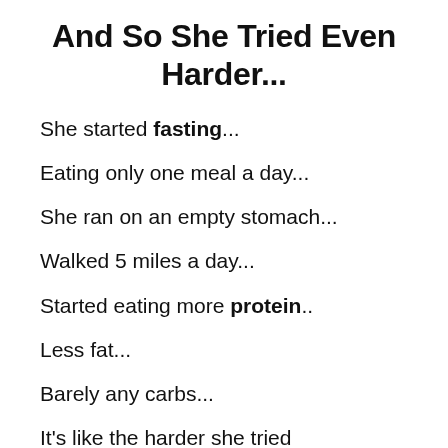And So She Tried Even Harder...
She started fasting...
Eating only one meal a day...
She ran on an empty stomach...
Walked 5 miles a day...
Started eating more protein..
Less fat...
Barely any carbs...
It's like the harder she tried